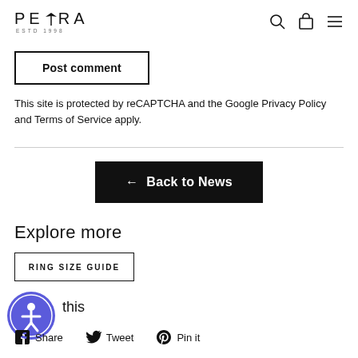PEORA ESTD 1998 [navigation header with search, cart, and menu icons]
Post comment
This site is protected by reCAPTCHA and the Google Privacy Policy and Terms of Service apply.
← Back to News
Explore more
RING SIZE GUIDE
this
Share   Tweet   Pin it